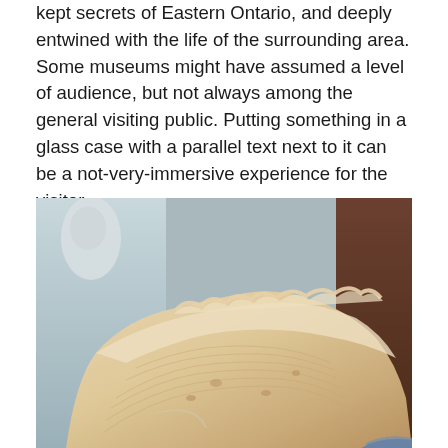kept secrets of Eastern Ontario, and deeply entwined with the life of the surrounding area. Some museums might have assumed a level of audience, but not always among the general visiting public. Putting something in a glass case with a parallel text next to it can be a not-very-immersive experience for the visitor.
[Figure (photo): A close-up photograph of a large, cream/beige coloured textile or woven fabric artifact displayed in what appears to be a museum setting. The fabric shows intricate chevron or herringbone weave patterns and has a ruffled or scalloped edge. A white statue or mannequin is partially visible in the background on the left, and dark wooden paneling is visible on the right.]